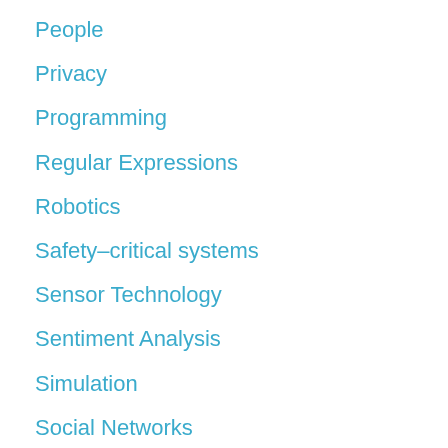People
Privacy
Programming
Regular Expressions
Robotics
Safety–critical systems
Sensor Technology
Sentiment Analysis
Simulation
Social Networks
Space
Sport
Basketball
Football